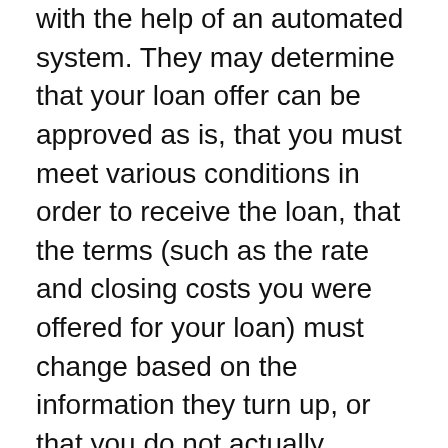with the help of an automated system. They may determine that your loan offer can be approved as is, that you must meet various conditions in order to receive the loan, that the terms (such as the rate and closing costs you were offered for your loan) must change based on the information they turn up, or that you do not actually qualify for a loan after all.
Your mortgage professional should keep you updated on the progress of underwriting and of any issues that may arise. If underwriting uncovers new information that materially changes the terms of the loan you were offered, they must offer you a new Good Faith Estimate.